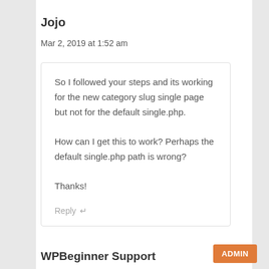Jojo
Mar 2, 2019 at 1:52 am
So I followed your steps and its working for the new category slug single page but not for the default single.php.

How can I get this to work? Perhaps the default single.php path is wrong?

Thanks!
Reply ↵
WPBeginner Support
ADMIN